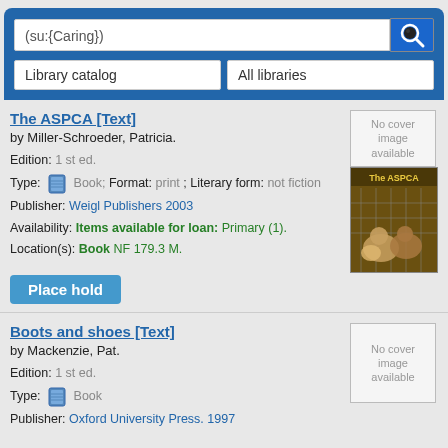(su:{Caring})
Library catalog
All libraries
The ASPCA [Text]
by Miller-Schroeder, Patricia.
Edition: 1 st ed.
Type: Book; Format: print ; Literary form: not fiction
Publisher: Weigl Publishers 2003
Availability: Items available for loan: Primary (1).
Location(s): Book NF 179.3 M.
Place hold
[Figure (photo): Book cover: The ASPCA, showing dogs behind chain-link fence]
Boots and shoes [Text]
by Mackenzie, Pat.
Edition: 1 st ed.
Type: Book
Publisher: Oxford University Press. 1997
[Figure (other): No cover image available placeholder]